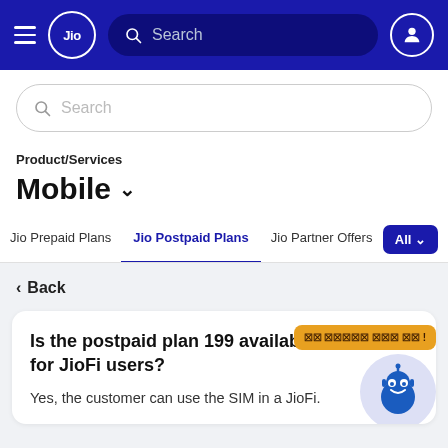Jio — Navigation bar with hamburger menu, Jio logo, Search bar, and user icon
Search
Product/Services
Mobile
Jio Prepaid Plans | Jio Postpaid Plans (active) | Jio Partner Offers | All
< Back
Is the postpaid plan 199 available for JioFi users?
Yes, the customer can use the SIM in a JioFi.
[Figure (illustration): Chatbot robot icon with speech bubble containing text in Hindi/regional language]